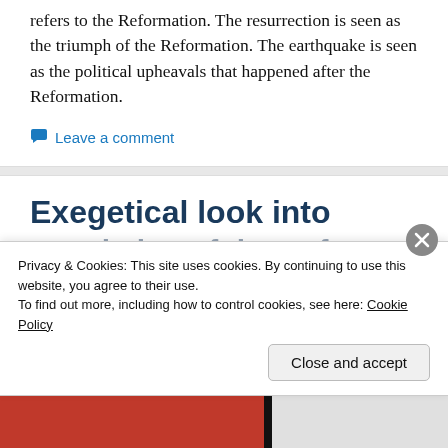refers to the Reformation. The resurrection is seen as the triumph of the Reformation. The earthquake is seen as the political upheavals that happened after the Reformation.
Leave a comment
Exegetical look into
Privacy & Cookies: This site uses cookies. By continuing to use this website, you agree to their use.
To find out more, including how to control cookies, see here: Cookie Policy
Close and accept